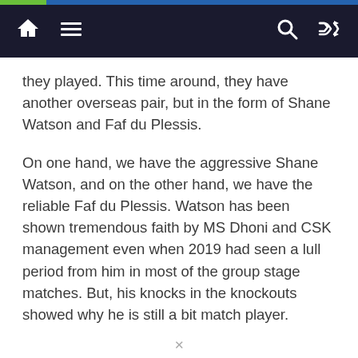[Navigation bar with home, menu, search, shuffle icons]
they played. This time around, they have another overseas pair, but in the form of Shane Watson and Faf du Plessis.
On one hand, we have the aggressive Shane Watson, and on the other hand, we have the reliable Faf du Plessis. Watson has been shown tremendous faith by MS Dhoni and CSK management even when 2019 had seen a lull period from him in most of the group stage matches. But, his knocks in the knockouts showed why he is still a bit match player.